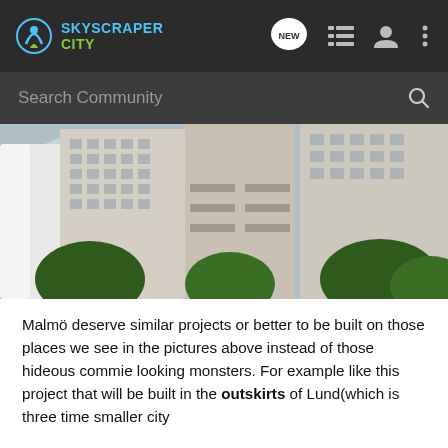SkyscraperCity
[Figure (screenshot): Search bar with 'Search Community' placeholder and magnifying glass icon on dark background]
[Figure (photo): Architectural rendering of modern high-rise residential buildings with balconies and trees in foreground]
Malmö deserve similar projects or better to be built on those places we see in the pictures above instead of those hideous commie looking monsters. For example like this project that will be built in the outskirts of Lund(which is three time smaller city